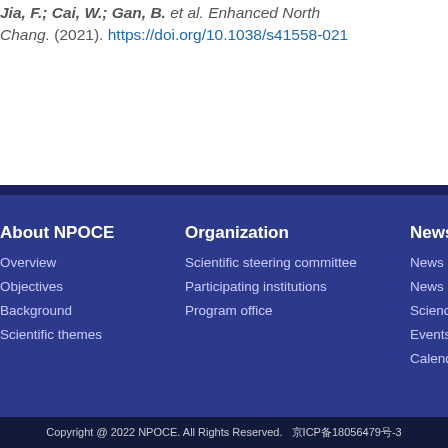Jia, F.; Cai, W.; Gan, B. et al. Enhanced North... Chang. (2021). https://doi.org/10.1038/s41558-021...
About NPOCE
Overview
Objectives
Background
Scientific themes
Organization
Scientific steering committee
Participating institutions
Program office
News &
News abo
News abo
Science H
Events
Calendar
Copyright @ 2022 NPOCE. All Rights Reserved.  京ICP冀18056479号-3